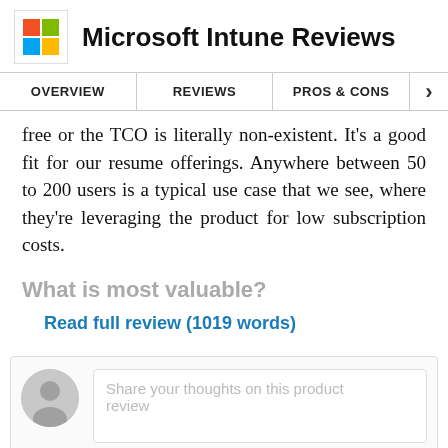Microsoft Intune Reviews
OVERVIEW | REVIEWS | PROS & CONS
free or the TCO is literally non-existent. It's a good fit for our resume offerings. Anywhere between 50 to 200 users is a typical use case that we see, where they're leveraging the product for low subscription costs.
What is most valuable?
Read full review (1019 words)
[Figure (other): Comment/review input box with user avatar placeholder and 'Share your thoughts on this product review' prompt text]